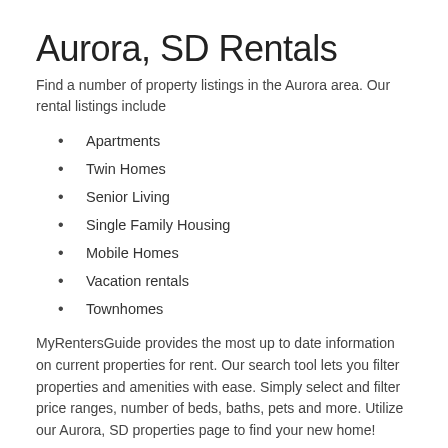Aurora, SD Rentals
Find a number of property listings in the Aurora area. Our rental listings include
Apartments
Twin Homes
Senior Living
Single Family Housing
Mobile Homes
Vacation rentals
Townhomes
MyRentersGuide provides the most up to date information on current properties for rent. Our search tool lets you filter properties and amenities with ease. Simply select and filter price ranges, number of beds, baths, pets and more. Utilize our Aurora, SD properties page to find your new home!